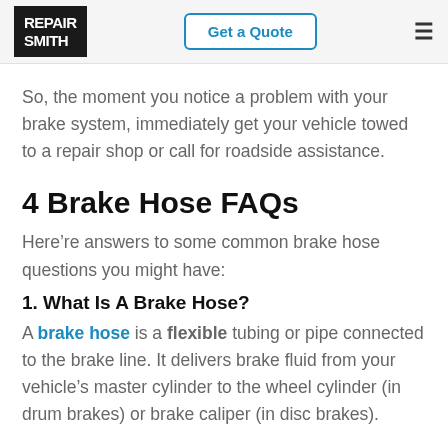RepairSmith | Get a Quote
So, the moment you notice a problem with your brake system, immediately get your vehicle towed to a repair shop or call for roadside assistance.
4 Brake Hose FAQs
Here’re answers to some common brake hose questions you might have:
1. What Is A Brake Hose?
A brake hose is a flexible tubing or pipe connected to the brake line. It delivers brake fluid from your vehicle’s master cylinder to the wheel cylinder (in drum brakes) or brake caliper (in disc brakes).